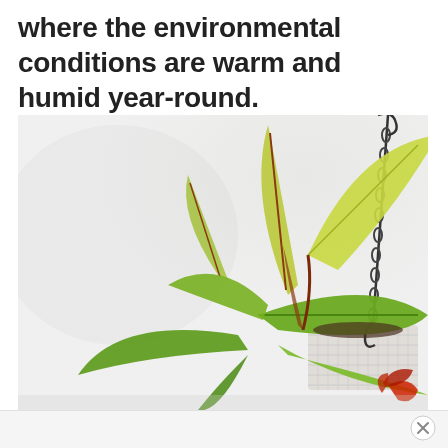where the environmental conditions are warm and humid year-round.
[Figure (photo): A tropical plant with large green leaves hanging in a white wicker basket suspended by a dark metal chain, photographed against a soft blurred light background. Some leaves have reddish-brown tints at the edges and stems.]